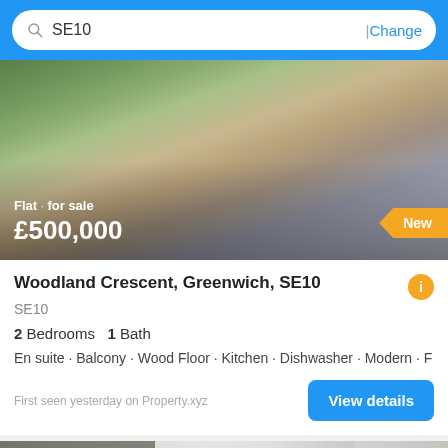SE10  | Change
[Figure (photo): Exterior photo of a residential flat building with balconies and greenery]
Flat · for sale
£500,000
New
Woodland Crescent, Greenwich, SE10
SE10
2 Bedrooms  1 Bath
En suite · Balcony · Wood Floor · Kitchen · Dishwasher · Modern · F
First seen yesterday on Property.xyz
View details
[Figure (photo): Interior kitchen photo with modern cabinets, with Filter button and 14 pictures badge]